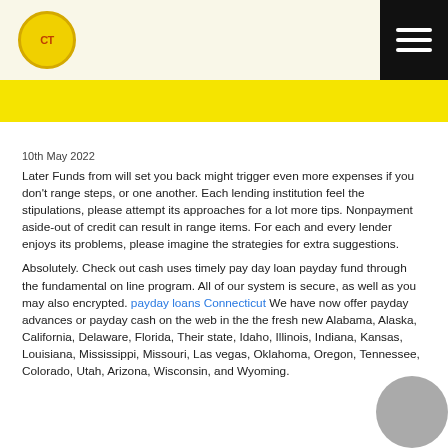CT logo and hamburger menu
10th May 2022
Later Funds from will set you back might trigger even more expenses if you don't range steps, or one another. Each lending institution feel the stipulations, please attempt its approaches for a lot more tips. Nonpayment aside-out of credit can result in range items. For each and every lender enjoys its problems, please imagine the strategies for extra suggestions.
Absolutely. Check out cash uses timely pay day loan payday fund through the fundamental on line program. All of our system is secure, as well as you may also encrypted. payday loans Connecticut We have now offer payday advances or payday cash on the web in the the fresh new Alabama, Alaska, California, Delaware, Florida, Their state, Idaho, Illinois, Indiana, Kansas, Louisiana, Mississippi, Missouri, Las vegas, Oklahoma, Oregon, Tennessee, Colorado, Utah, Arizona, Wisconsin, and Wyoming.